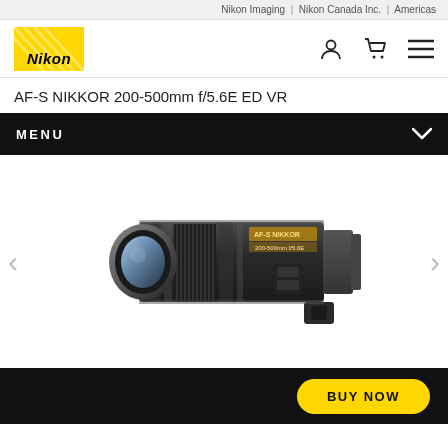Nikon Imaging | Nikon Canada Inc. | Americas
[Figure (logo): Nikon yellow logo with diagonal lines and italic bold Nikon text]
AF-S NIKKOR 200-500mm f/5.6E ED VR
MENU
[Figure (photo): Nikon AF-S NIKKOR 200-500mm telephoto lens, black, shown horizontally on white background]
BUY NOW